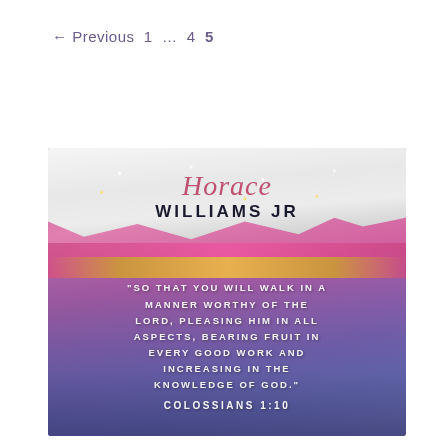← Previous 1 … 4 5
[Figure (illustration): Inspirational image for Horace Williams JR featuring a glittery torn paper effect at top with the author name, pink/purple gradient background, and a Bible verse from Colossians 1:10 overlaid in white uppercase text.]